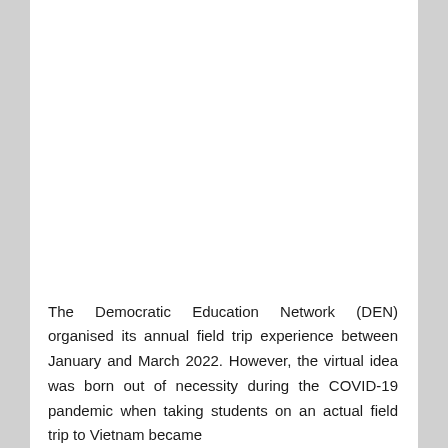The Democratic Education Network (DEN) organised its annual field trip experience between January and March 2022. However, the virtual idea was born out of necessity during the COVID-19 pandemic when taking students on an actual field trip to Vietnam became